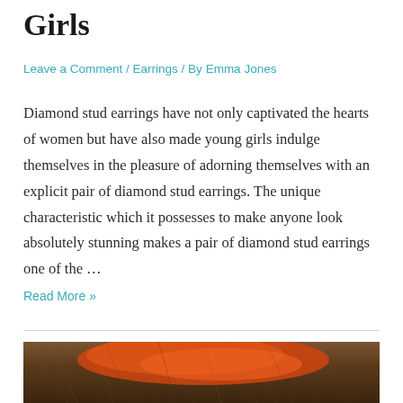Girls
Leave a Comment / Earrings / By Emma Jones
Diamond stud earrings have not only captivated the hearts of women but have also made young girls indulge themselves in the pleasure of adorning themselves with an explicit pair of diamond stud earrings. The unique characteristic which it possesses to make anyone look absolutely stunning makes a pair of diamond stud earrings one of the …
Read More »
[Figure (photo): Close-up photo of a girl with red/orange highlighted hair, showing the side of her face and hair with fine strands visible.]